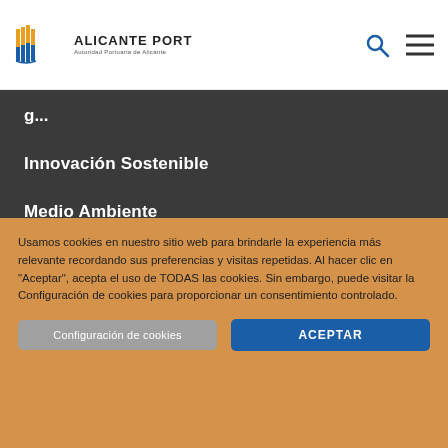[Figure (logo): Alicante Port logo with colorful vertical bars icon and text 'ALICANTE PORT / Autoridad Portuaria de Alicante']
Innovación Sostenible
Medio Ambiente
Puerto Ciudad
Transparencia
Usamos cookies en nuestro sitio web para brindarle la experiencia más relevante recordando sus preferencias y visitas repetidas. Al hacer clic en "Aceptar", acepta el uso de TODAS las cookies. Sin embargo, puede visitar la Configuración de cookies para proporcionar un consentimiento controlado.